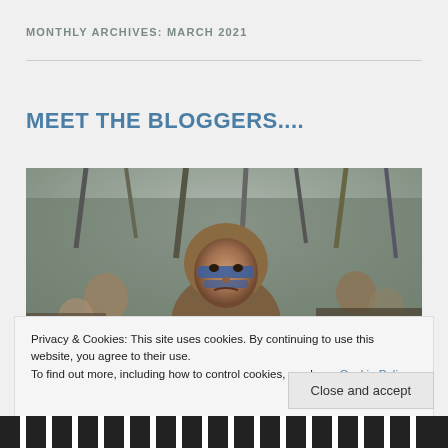MONTHLY ARCHIVES: MARCH 2021
MEET THE BLOGGERS....
[Figure (photo): Crowd scene from Braveheart-style movie with warrior in foreground having blue face paint, surrounded by people holding weapons aloft]
Privacy & Cookies: This site uses cookies. By continuing to use this website, you agree to their use.
To find out more, including how to control cookies, see here: Cookie Policy
Close and accept